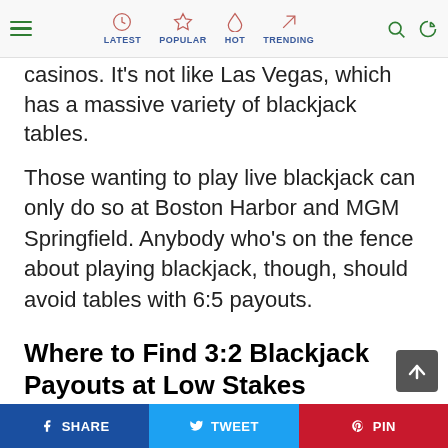LATEST | POPULAR | HOT | TRENDING
casinos. It's not like Las Vegas, which has a massive variety of blackjack tables.
Those wanting to play live blackjack can only do so at Boston Harbor and MGM Springfield. Anybody who's on the fence about playing blackjack, though, should avoid tables with 6:5 payouts.
Where to Find 3:2 Blackjack Payouts at Low Stakes
The players who filed the class-action lawsuit against MGM Springfield and Boston Harbor were unhappy about the blackjack options. They didn't, and still
SHARE | TWEET | PIN